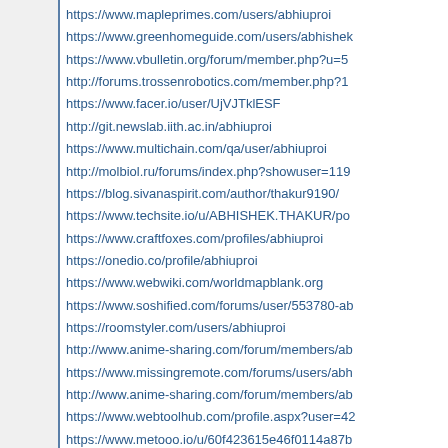https://www.mapleprimes.com/users/abhiuproi
https://www.greenhomeguide.com/users/abhishek
https://www.vbulletin.org/forum/member.php?u=5
http://forums.trossenrobotics.com/member.php?1
https://www.facer.io/user/UjVJTklESF
http://git.newslab.iith.ac.in/abhiuproi
https://www.multichain.com/qa/user/abhiuproi
http://molbiol.ru/forums/index.php?showuser=119
https://blog.sivanaspirit.com/author/thakur9190/
https://www.techsite.io/u/ABHISHEK.THAKUR/po
https://www.craftfoxes.com/profiles/abhiuproi
https://onedio.co/profile/abhiuproi
https://www.webwiki.com/worldmapblank.org
https://www.soshified.com/forums/user/553780-ab
https://roomstyler.com/users/abhiuproi
http://www.anime-sharing.com/forum/members/ab
https://www.missingremote.com/forums/users/abh
http://www.anime-sharing.com/forum/members/ab
https://www.webtoolhub.com/profile.aspx?user=42
https://www.metooo.io/u/60f423615e46f0114a87b
http://atlas.dustforce.com/user/abhiuproi
https://www.craftfoxes.com/profiles/abhiuproi
https://puremtgo.com/users/abhiuproi
http://www.effecthub.com/user/1951162
https://themehunt.com/profile/ABHIUPROI